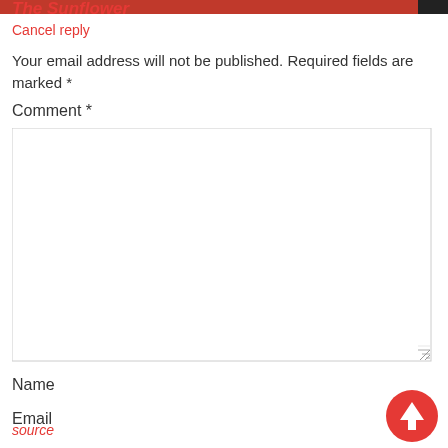The Sunflower
Cancel reply
Your email address will not be published. Required fields are marked *
Comment *
[Figure (other): Comment text area input field, empty, with resize handle]
Name
Email
source
[Figure (other): Red circular floating action button with white upward arrow icon]